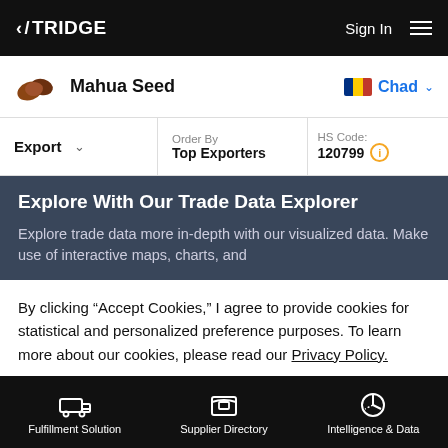TRIDGE   Sign In
Mahua Seed   Chad
| Export | Order By | HS Code: |
| --- | --- | --- |
|  | Top Exporters | 120799 |
Explore With Our Trade Data Explorer
Explore trade data more in-depth with our visualized data. Make use of interactive maps, charts, and
By clicking “Accept Cookies,” I agree to provide cookies for statistical and personalized preference purposes. To learn more about our cookies, please read our Privacy Policy.
Accept Cookies
Fulfillment Solution   Supplier Directory   Intelligence & Data